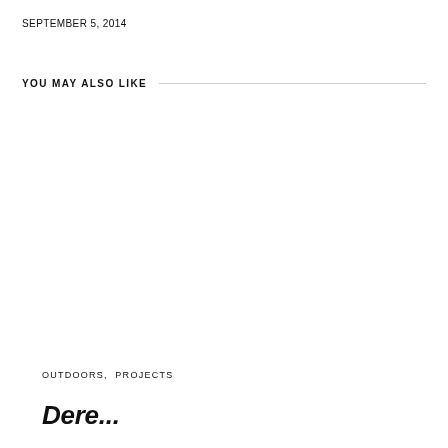SEPTEMBER 5, 2014
YOU MAY ALSO LIKE
OUTDOORS, PROJECTS
Dere...